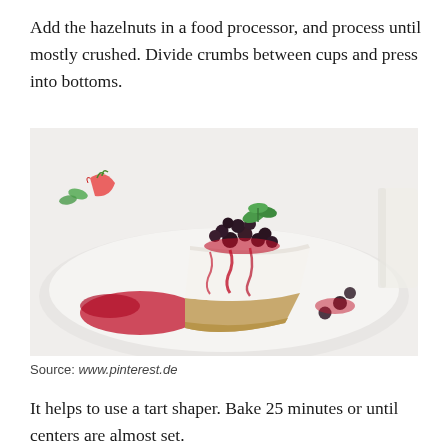Add the hazelnuts in a food processor, and process until mostly crushed. Divide crumbs between cups and press into bottoms.
[Figure (photo): A slice of cheesecake topped with dark berry sauce and fresh mint leaves, served on a white plate with strawberries.]
Source: www.pinterest.de
It helps to use a tart shaper. Bake 25 minutes or until centers are almost set.